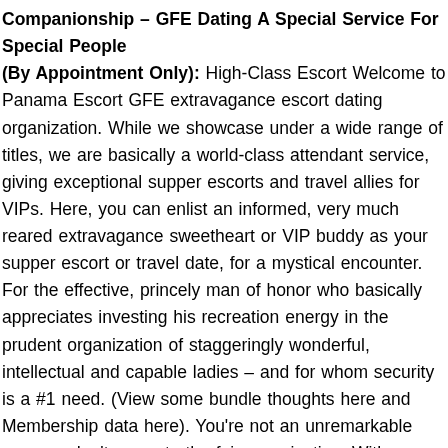Companionship – GFE Dating A Special Service For Special People (By Appointment Only): High-Class Escort Welcome to Panama Escort GFE extravagance escort dating organization. While we showcase under a wide range of titles, we are basically a world-class attendant service, giving exceptional supper escorts and travel allies for VIPs. Here, you can enlist an informed, very much reared extravagance sweetheart or VIP buddy as your supper escort or travel date, for a mystical encounter. For the effective, princely man of honor who basically appreciates investing his recreation energy in the prudent organization of staggeringly wonderful, intellectual and capable ladies – and for whom security is a #1 need. (View some bundle thoughts here and Membership data here). You're not an unremarkable man, so don't agree to the fair organization. With our upscale social escort organization, you won't be acquainted with full-time or 'by-the-hour' female PTY accompanies. Hope to meet the best, freshest, most genuine single women of class and differentiation, every one of whom seeks after their own professions and the open doors' life brings them. Marked business models and glamour girls, TV moderators, semi-well known and acclaimed entertainers, top Instagram